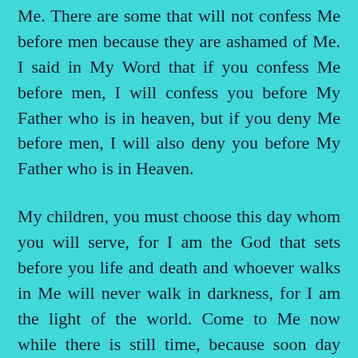Me. There are some that will not confess Me before men because they are ashamed of Me. I said in My Word that if you confess Me before men, I will confess you before My Father who is in heaven, but if you deny Me before men, I will also deny you before My Father who is in Heaven.
My children, you must choose this day whom you will serve, for I am the God that sets before you life and death and whoever walks in Me will never walk in darkness, for I am the light of the world. Come to Me now while there is still time, because soon day will be turned to night and time will be no more. There are many who are waiting with their empty cups. They are waiting for their cups to be filled with the life-giving